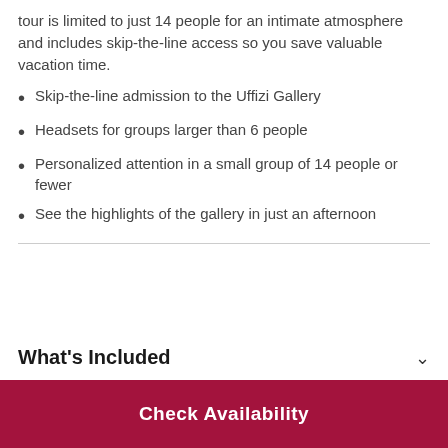tour is limited to just 14 people for an intimate atmosphere and includes skip-the-line access so you save valuable vacation time.
Skip-the-line admission to the Uffizi Gallery
Headsets for groups larger than 6 people
Personalized attention in a small group of 14 people or fewer
See the highlights of the gallery in just an afternoon
What's Included
Check Availability